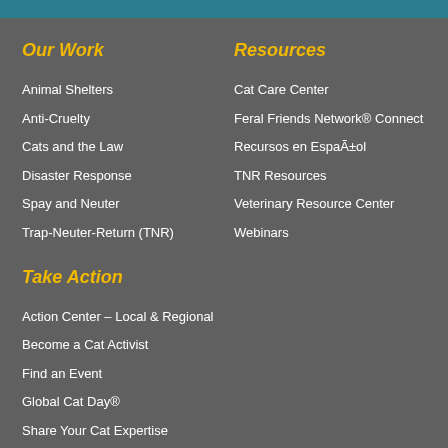Our Work
Animal Shelters
Anti-Cruelty
Cats and the Law
Disaster Response
Spay and Neuter
Trap-Neuter-Return (TNR)
Resources
Cat Care Center
Feral Friends Network® Connect
Recursos en Español
TNR Resources
Veterinary Resource Center
Webinars
Take Action
Action Center – Local & Regional
Become a Cat Activist
Find an Event
Global Cat Day®
Share Your Cat Expertise
Stand Against Animal Cruelty!